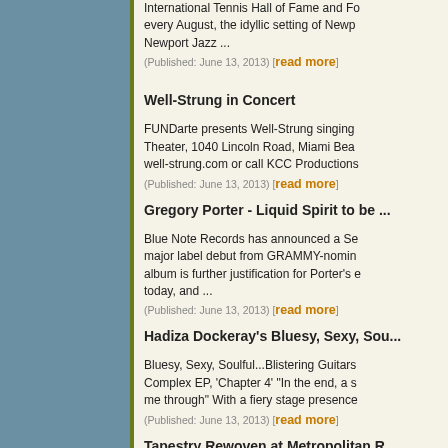International Tennis Hall of Fame and Fo... every August, the idyllic setting of Newp... Newport Jazz ...
(Published: June 13, 2013) [read more]
Well-Strung in Concert
FUNDarte presents Well-Strung singing... Theater, 1040 Lincoln Road, Miami Bea... well-strung.com or call KCC Productions...
(Published: June 13, 2013) [read more]
Gregory Porter - Liquid Spirit to be ...
Blue Note Records has announced a Se... major label debut from GRAMMY-nomin... album is further justification for Porter's ... today, and ...
(Published: June 13, 2013) [read more]
Hadiza Dockeray's Bluesy, Sexy, Sou...
Bluesy, Sexy, Soulful...Blistering Guitars... Complex EP, 'Chapter 4' "In the end, a s... me through" With a fiery stage presence...
(Published: June 13, 2013) [read more]
Tapestry Rewoven at Metropolitan R...
Laurie Krauz & The Daryl Kojak Octet re... award winning show, "Tapestry Rewove... Metropolitan Room (featuring Sean Con... Jamie Fox ...